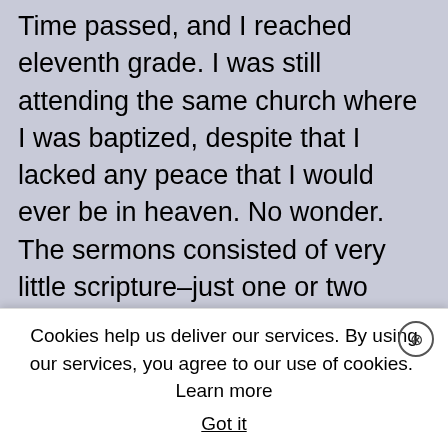Time passed, and I reached eleventh grade. I was still attending the same church where I was baptized, despite that I lacked any peace that I would ever be in heaven. No wonder. The sermons consisted of very little scripture–just one or two verses at the beginning, and then a long diversion into speaking against alcoholism or other ills of society. There was little from the Word of God, so how could this preaching lead me to real faith?
Cookies help us deliver our services. By using our services, you agree to our use of cookies. Learn more  Got it
My only faith was based on what I had done years earlier: I had told NO...